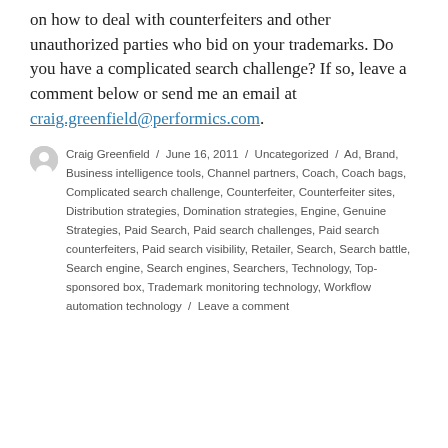on how to deal with counterfeiters and other unauthorized parties who bid on your trademarks. Do you have a complicated search challenge? If so, leave a comment below or send me an email at craig.greenfield@performics.com.
Craig Greenfield / June 16, 2011 / Uncategorized / Ad, Brand, Business intelligence tools, Channel partners, Coach, Coach bags, Complicated search challenge, Counterfeiter, Counterfeiter sites, Distribution strategies, Domination strategies, Engine, Genuine Strategies, Paid Search, Paid search challenges, Paid search counterfeiters, Paid search visibility, Retailer, Search, Search battle, Search engine, Search engines, Searchers, Technology, Top-sponsored box, Trademark monitoring technology, Workflow automation technology / Leave a comment